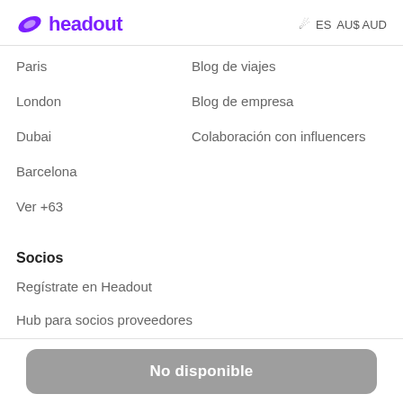headout  ES  AU$ AUD
Paris
Blog de viajes
London
Blog de empresa
Dubai
Colaboración con influencers
Barcelona
Ver +63
Socios
Regístrate en Headout
Hub para socios proveedores
No disponible